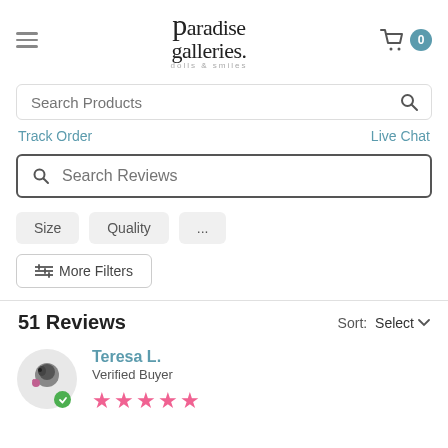Paradise Galleries dolls & smiles
Search Products
Track Order
Live Chat
Search Reviews
Size
Quality
...
More Filters
51 Reviews
Sort: Select
Teresa L.
Verified Buyer